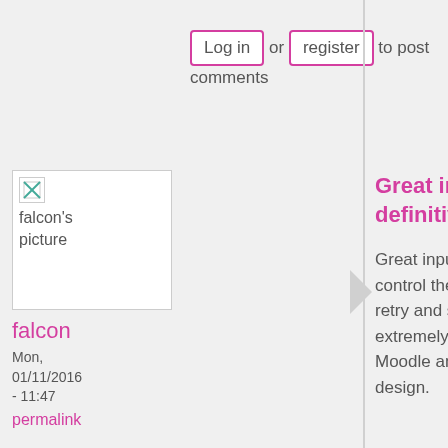Log in or register to post comments
[Figure (photo): falcon's picture - small avatar image placeholder]
falcon
Mon, 01/11/2016 - 11:47
permalink
Great input, it definitively
Great input, it definitively should have more settings to control the end of Course Presentation behavior. Disabling retry and show solutions at least. The H5P Core team is extremely busy at the moment with funded work on LTI and Moodle and after that we will start working on universal design.